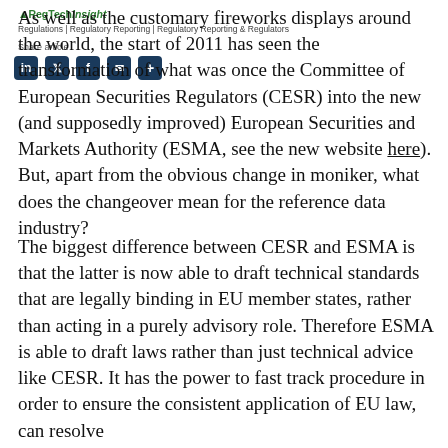RegTech Insight
Regulations | Regulatory Reporting | Regulatory Reporting & Regulators
Share article
As well as the customary fireworks displays around the world, the start of 2011 has seen the transformation of what was once the Committee of European Securities Regulators (CESR) into the new (and supposedly improved) European Securities and Markets Authority (ESMA, see the new website here). But, apart from the obvious change in moniker, what does the changeover mean for the reference data industry?
The biggest difference between CESR and ESMA is that the latter is now able to draft technical standards that are legally binding in EU member states, rather than acting in a purely advisory role. Therefore ESMA is able to draft laws rather than just technical advice like CESR. It has the power to fast track procedure in order to ensure the consistent application of EU law, can resolve